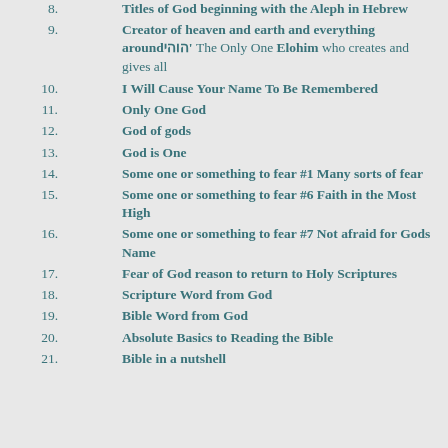8. Titles of God beginning with the Aleph in Hebrew
9. Creator of heaven and earth and everything aroundהוהי' The Only One Elohim who creates and gives all
10. I Will Cause Your Name To Be Remembered
11. Only One God
12. God of gods
13. God is One
14. Some one or something to fear #1 Many sorts of fear
15. Some one or something to fear #6 Faith in the Most High
16. Some one or something to fear #7 Not afraid for Gods Name
17. Fear of God reason to return to Holy Scriptures
18. Scripture Word from God
19. Bible Word from God
20. Absolute Basics to Reading the Bible
21. Bible in a nutshell